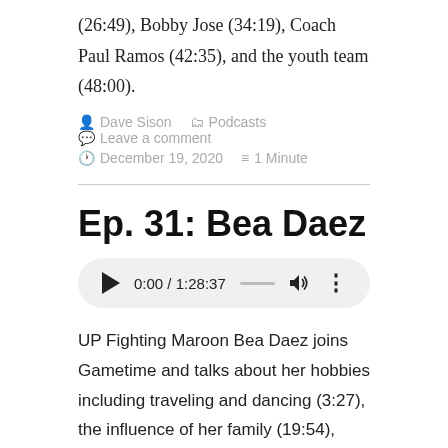(26:49), Bobby Jose (34:19), Coach Paul Ramos (42:35), and the youth team (48:00).
Dave Sison  Podcasts  Leave a comment  December 19, 2020  1 Minute
Ep. 31: Bea Daez
[Figure (other): Audio player widget showing play button, time 0:00 / 1:28:37, progress bar, volume icon, and more options icon]
UP Fighting Maroon Bea Daez joins Gametime and talks about her hobbies including traveling and dancing (3:27), the influence of her family (19:54), adjusting to the UP culture (29:19), playing for the Maroons (36:01),